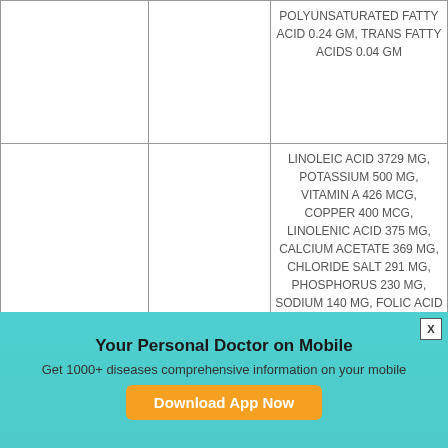|  |  |  |
| --- | --- | --- |
|  |  | POLYUNSATURATED FATTY ACID 0.24 GM, TRANS FATTY ACIDS 0.04 GM |
|  |  | LINOLEIC ACID 3729 MG, POTASSIUM 500 MG, VITAMIN A 426 MCG, COPPER 400 MCG, LINOLENIC ACID 375 MG, CALCIUM ACETATE 369 MG, CHLORIDE SALT 291 MG, PHOSPHORUS 230 MG, SODIUM 140 MG, FOLIC ACID 100 MCG, IODINE 75 MCG, VITAMIN C 70 MG, MANGANESE 55 MCG, CARBOHYDRATE 55.4 GM, CHOLINE 50 MG, TAURINE 35 MG, VITAMIN K 34 MCG, CHOLESTEROL 33 MG, |
Your Personal Doctor on Mobile
Get 1000+ diseases comprehensive information on your mobile
Download App Now